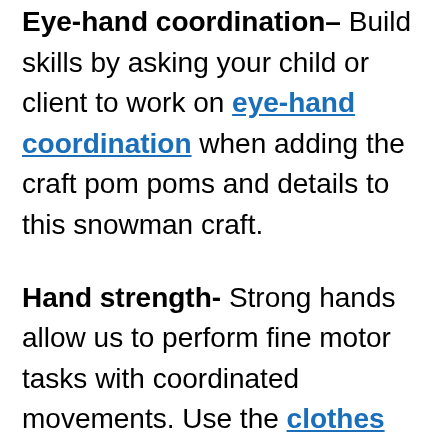Eye-hand coordination– Build skills by asking your child or client to work on eye-hand coordination when adding the craft pom poms and details to this snowman craft.
Hand strength- Strong hands allow us to perform fine motor tasks with coordinated movements. Use the clothes pin to strengthen the arches of the hand and the intrinsic muscles by